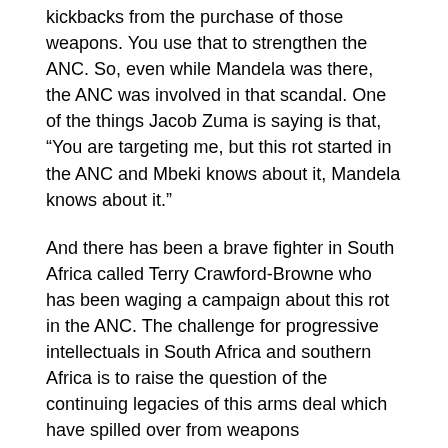kickbacks from the purchase of those weapons. You use that to strengthen the ANC. So, even while Mandela was there, the ANC was involved in that scandal. One of the things Jacob Zuma is saying is that, “You are targeting me, but this rot started in the ANC and Mbeki knows about it, Mandela knows about it.”
And there has been a brave fighter in South Africa called Terry Crawford-Browne who has been waging a campaign about this rot in the ANC. The challenge for progressive intellectuals in South Africa and southern Africa is to raise the question of the continuing legacies of this arms deal which have spilled over from weapons manufacturing, weapons sales to every other sector of the economy.
The third part is about this general rot of the ANC in standing up against foreign capital and turning to the same kind of xenophobia of the white racists to divide working people in South Africa. For 100 years, South Africa was a country that had workers from Lesotho, Mozambique, Swaziland, and Malawi [among other countries] that worked in the mines. The leadership of the ANC was silent on the question of xenophobic attacks on